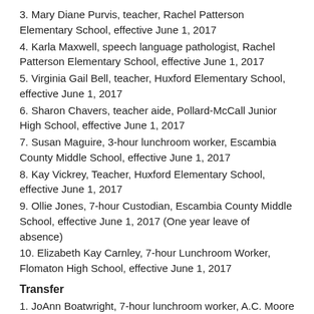3. Mary Diane Purvis, teacher, Rachel Patterson Elementary School, effective June 1, 2017
4. Karla Maxwell, speech language pathologist, Rachel Patterson Elementary School, effective June 1, 2017
5. Virginia Gail Bell, teacher, Huxford Elementary School, effective June 1, 2017
6. Sharon Chavers, teacher aide, Pollard-McCall Junior High School, effective June 1, 2017
7. Susan Maguire, 3-hour lunchroom worker, Escambia County Middle School, effective June 1, 2017
8. Kay Vickrey, Teacher, Huxford Elementary School, effective June 1, 2017
9. Ollie Jones, 7-hour Custodian, Escambia County Middle School, effective June 1, 2017 (One year leave of absence)
10. Elizabeth Kay Carnley, 7-hour Lunchroom Worker, Flomaton High School, effective June 1, 2017
Transfer
1. JoAnn Boatwright, 7-hour lunchroom worker, A.C. Moore Elementary School, to 7-hour lunchroom worker, Huxford Elementary School, effective July 1, 2017